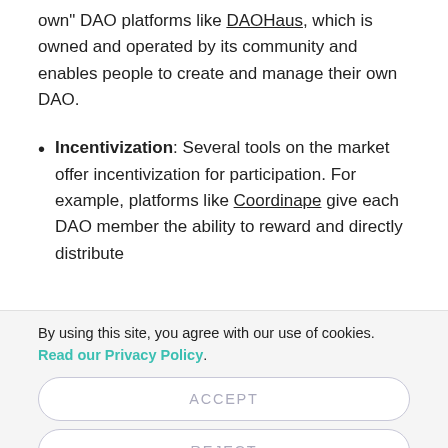own" DAO platforms like DAOHaus, which is owned and operated by its community and enables people to create and manage their own DAO.
Incentivization: Several tools on the market offer incentivization for participation. For example, platforms like Coordinape give each DAO member the ability to reward and directly distribute
By using this site, you agree with our use of cookies. Read our Privacy Policy.
ACCEPT
REJECT
CUSTOMIZE